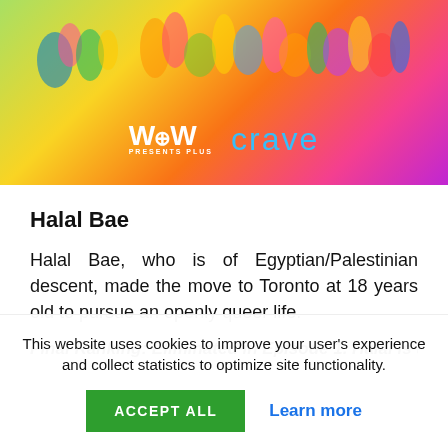[Figure (photo): Colorful promotional banner with green-to-yellow-to-orange-to-pink gradient background featuring costumed performers/dancers at the top, with WOW Presents Plus logo and Crave logo overlaid at the bottom center.]
Halal Bae
Halal Bae, who is of Egyptian/Palestinian descent, made the move to Toronto at 18 years old to pursue an openly queer life.
Final Ranking: Eliminated in Episode 1. Halal is the
This website uses cookies to improve your user's experience and collect statistics to optimize site functionality.